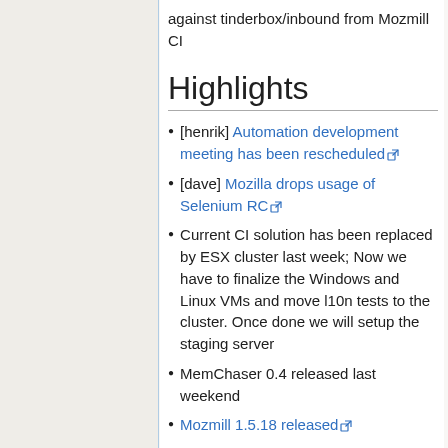against tinderbox/inbound from Mozmill CI
Highlights
[henrik] Automation development meeting has been rescheduled
[dave] Mozilla drops usage of Selenium RC
Current CI solution has been replaced by ESX cluster last week; Now we have to finalize the Windows and Linux VMs and move l10n tests to the cluster. Once done we will setup the staging server
MemChaser 0.4 released last weekend
Mozmill 1.5.18 released